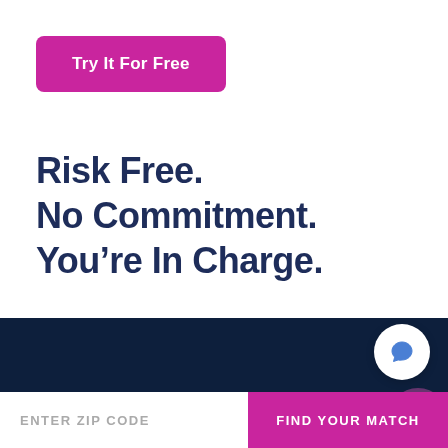[Figure (other): Pink/magenta rounded rectangle button with white bold text 'Try It For Free']
Risk Free.
No Commitment.
You're In Charge.
[Figure (other): Dark navy footer bar with a zip code input field on the left and a 'FIND YOUR MATCH' magenta button on the right, plus a white chat bubble icon]
ENTER ZIP CODE
FIND YOUR MATCH